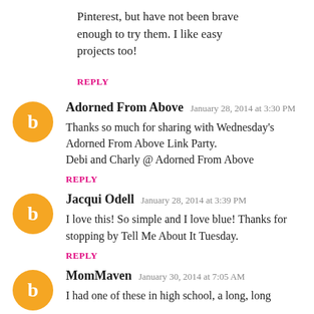Pinterest, but have not been brave enough to try them. I like easy projects too!
REPLY
Adorned From Above  January 28, 2014 at 3:30 PM
Thanks so much for sharing with Wednesday's Adorned From Above Link Party. Debi and Charly @ Adorned From Above
REPLY
Jacqui Odell  January 28, 2014 at 3:39 PM
I love this! So simple and I love blue! Thanks for stopping by Tell Me About It Tuesday.
REPLY
MomMaven  January 30, 2014 at 7:05 AM
I had one of these in high school, a long, long